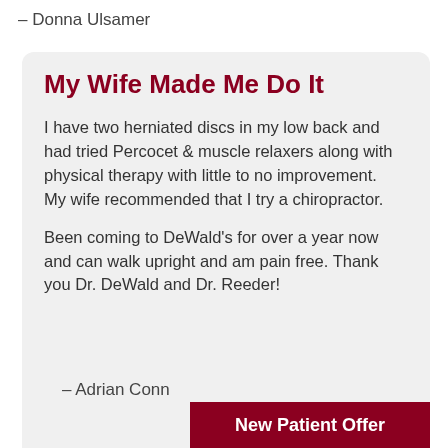– Donna Ulsamer
My Wife Made Me Do It
I have two herniated discs in my low back and had tried Percocet & muscle relaxers along with physical therapy with little to no improvement.  My wife recommended that I try a chiropractor.
Been coming to DeWald's for over a year now and can walk upright and am pain free. Thank you Dr. DeWald and Dr. Reeder!
– Adrian Conn
New Patient Offer